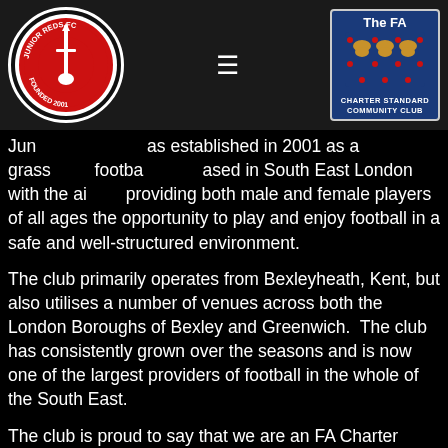[Figure (logo): Junior Reds FC circular logo with red circle and sword, Founded 2001]
[Figure (logo): The FA Charter Standard Community Club badge with three lions crest]
Junior Reds FC was established in 2001 as a grassroots football club based in South East London with the aim of providing both male and female players of all ages the opportunity to play and enjoy football in a safe and well-structured environment.
The club primarily operates from Bexleyheath, Kent, but also utilises a number of venues across both the London Boroughs of Bexley and Greenwich.  The club has consistently grown over the seasons and is now one of the largest providers of football in the whole of the South East.
The club is proud to say that we are an FA Charter Standard Community Club and this accreditation means that we as a junior football club value the importance of child safeguarding, the high standard of our coaches as well as fully embracing the values of the FA's Programme.